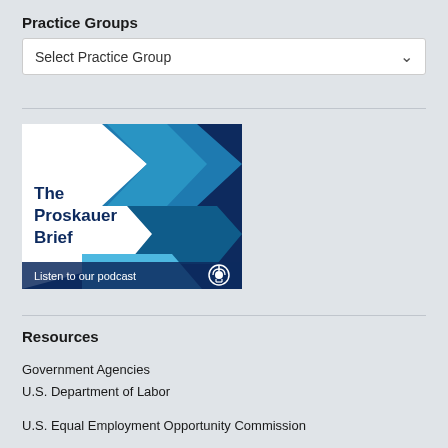Practice Groups
Select Practice Group
[Figure (screenshot): The Proskauer Brief podcast banner with blue geometric chevron design. Text reads 'The Proskauer Brief' and 'Listen to our podcast' with a podcast icon.]
Resources
Government Agencies
U.S. Department of Labor
U.S. Equal Employment Opportunity Commission